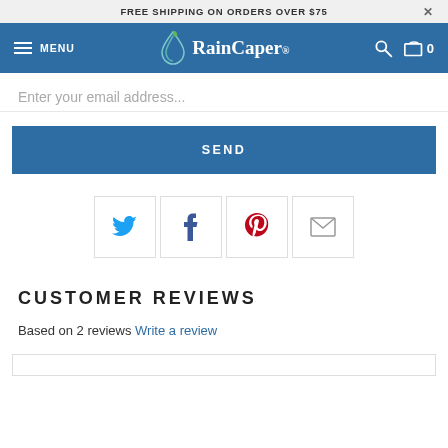FREE SHIPPING ON ORDERS OVER $75
[Figure (screenshot): RainCaper website navigation bar with hamburger menu, MENU text, RainCaper logo with droplet icon, search icon, and cart icon showing 0 items]
Enter your email address...
SEND
[Figure (infographic): Row of four social sharing icon buttons: Twitter (blue bird), Facebook (blue f), Pinterest (red P), email (grey envelope)]
CUSTOMER REVIEWS
Based on 2 reviews Write a review